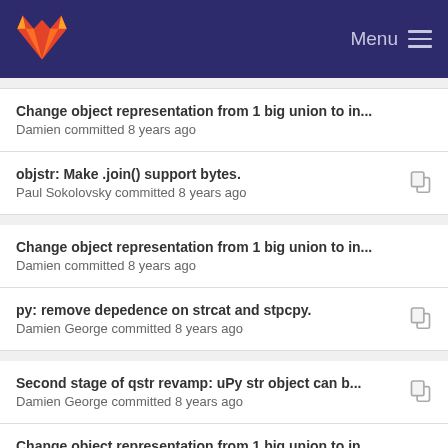GitLab — Menu
Change object representation from 1 big union to in...
Damien committed 8 years ago
objstr: Make .join() support bytes.
Paul Sokolovsky committed 8 years ago
Change object representation from 1 big union to in...
Damien committed 8 years ago
py: remove depedence on strcat and stpcpy.
Damien George committed 8 years ago
Second stage of qstr revamp: uPy str object can b...
Damien George committed 8 years ago
Change object representation from 1 big union to in...
Damien committed 8 years ago